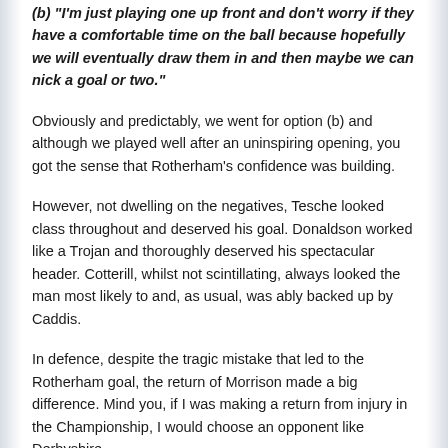(b) "I'm just playing one up front and don't worry if they have a comfortable time on the ball because hopefully we will eventually draw them in and then maybe we can nick a goal or two."
Obviously and predictably, we went for option (b) and although we played well after an uninspiring opening, you got the sense that Rotherham's confidence was building.
However, not dwelling on the negatives, Tesche looked class throughout and deserved his goal. Donaldson worked like a Trojan and thoroughly deserved his spectacular header. Cotterill, whilst not scintillating, always looked the man most likely to and, as usual, was ably backed up by Caddis.
In defence, despite the tragic mistake that led to the Rotherham goal, the return of Morrison made a big difference. Mind you, if I was making a return from injury in the Championship, I would choose an opponent like Derbyshire,